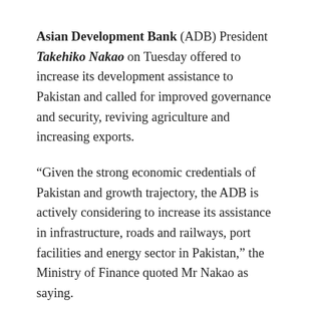Asian Development Bank (ADB) President Takehiko Nakao on Tuesday offered to increase its development assistance to Pakistan and called for improved governance and security, reviving agriculture and increasing exports.
“Given the strong economic credentials of Pakistan and growth trajectory, the ADB is actively considering to increase its assistance in infrastructure, roads and railways, port facilities and energy sector in Pakistan,” the Ministry of Finance quoted Mr Nakao as saying.
“While there are still key challenges to be addressed,” Mr Nakao said he was encouraged